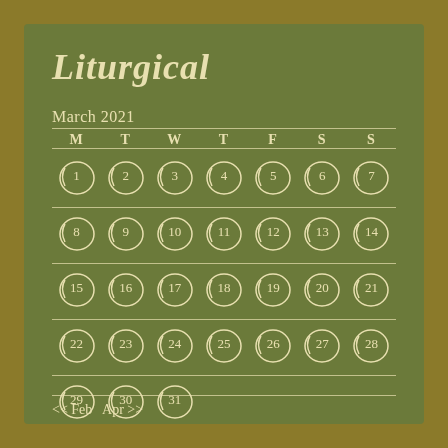Liturgical
March 2021
| M | T | W | T | F | S | S |
| --- | --- | --- | --- | --- | --- | --- |
| 1 | 2 | 3 | 4 | 5 | 6 | 7 |
| 8 | 9 | 10 | 11 | 12 | 13 | 14 |
| 15 | 16 | 17 | 18 | 19 | 20 | 21 |
| 22 | 23 | 24 | 25 | 26 | 27 | 28 |
| 29 | 30 | 31 |  |  |  |  |
<< Feb  Apr >>